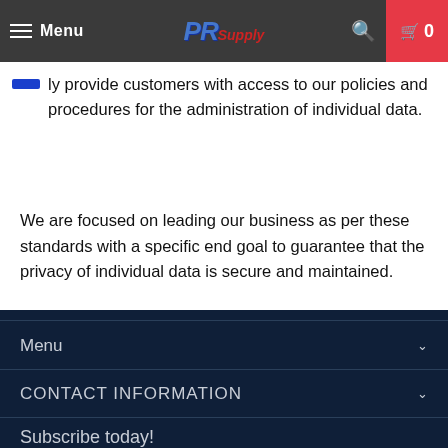Menu | PR Supply | 0
We will promptly provide customers with access to our policies and procedures for the administration of individual data.
We are focused on leading our business as per these standards with a specific end goal to guarantee that the privacy of individual data is secure and maintained.
Menu | CONTACT INFORMATION | Subscribe today!